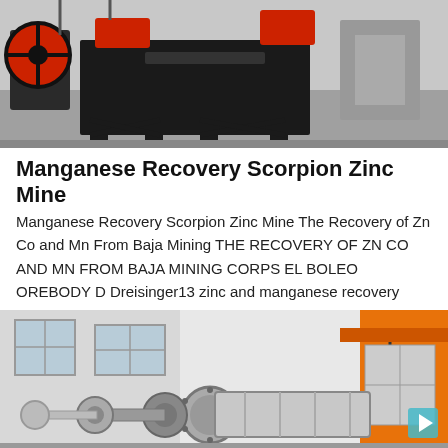[Figure (photo): Black and white photo of heavy mining/crushing machinery with large red flywheel, black metal frame structure, in an industrial warehouse setting.]
Manganese Recovery Scorpion Zinc Mine
Manganese Recovery Scorpion Zinc Mine The Recovery of Zn Co and Mn From Baja Mining THE RECOVERY OF ZN CO AND MN FROM BAJA MINING CORPS EL BOLEO OREBODY D Dreisinger13 zinc and manganese recovery
[Figure (photo): Photo of large industrial ball mill or grinding mill machinery with cylindrical drum and gears/flanges, in an outdoor/industrial yard setting with orange crane visible on right.]